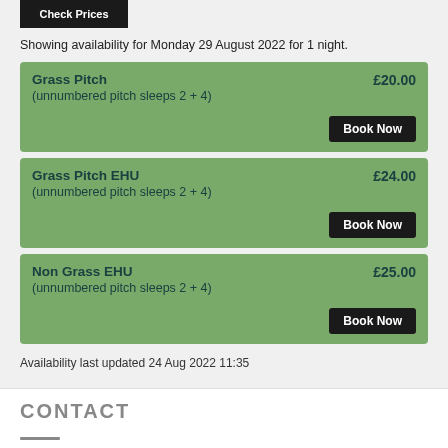Check Prices
Showing availability for Monday 29 August 2022 for 1 night.
Grass Pitch (unnumbered pitch sleeps 2 + 4) £20.00 Book Now
Grass Pitch EHU (unnumbered pitch sleeps 2 + 4) £24.00 Book Now
Non Grass EHU (unnumbered pitch sleeps 2 + 4) £25.00 Book Now
Availability last updated 24 Aug 2022 11:35
CONTACT